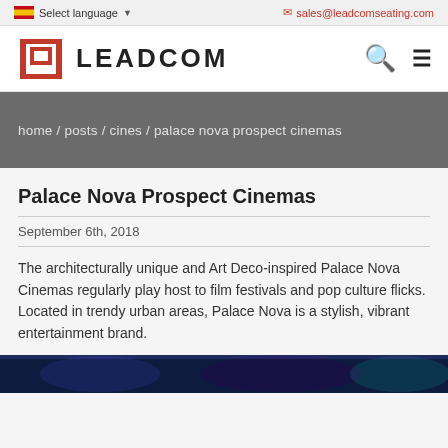Select language   sales@leadcomseating.com
[Figure (logo): Leadcom logo with red geometric icon and bold text LEADCOM, plus search and menu icons on right]
home / posts / cines / palace nova prospect cinemas
Palace Nova Prospect Cinemas
September 6th, 2018
The architecturally unique and Art Deco-inspired Palace Nova Cinemas regularly play host to film festivals and pop culture flicks. Located in trendy urban areas, Palace Nova is a stylish, vibrant entertainment brand.
[Figure (photo): Partial view of cinema interior with blue/purple lighting]